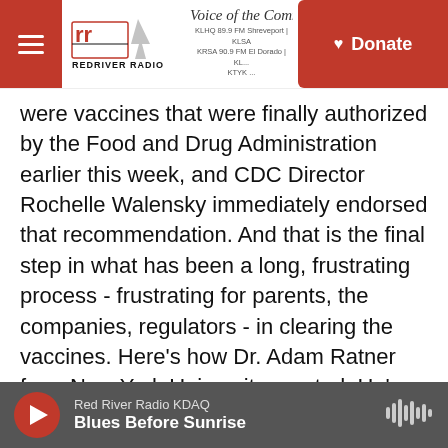Red River Radio — Voice of the Community — Donate
were vaccines that were finally authorized by the Food and Drug Administration earlier this week, and CDC Director Rochelle Walensky immediately endorsed that recommendation. And that is the final step in what has been a long, frustrating process - frustrating for parents, the companies, regulators - in clearing the vaccines. Here's how Dr. Adam Ratner from New York University reacted. He's speaking on behalf of the American Academy of Pediatrics.
(SOUNDBITE OF ARCHIVED RECORDING)
Red River Radio KDAQ — Blues Before Sunrise